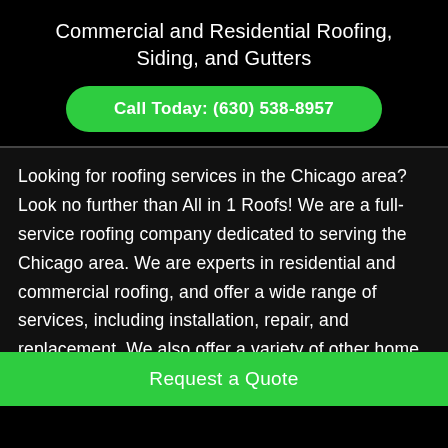Commercial and Residential Roofing, Siding, and Gutters
Call Today: (630) 538-8957
Looking for roofing services in the Chicago area? Look no further than All in 1 Roofs! We are a full-service roofing company dedicated to serving the Chicago area. We are experts in residential and commercial roofing, and offer a wide range of services, including installation, repair, and replacement. We also offer a variety of other home improvement services, such as siding and gutter installation and repair. No matter what your roofing needs, we have you covered! Contact us today to schedule a free consultation. We look forward to serving
Request a Quote